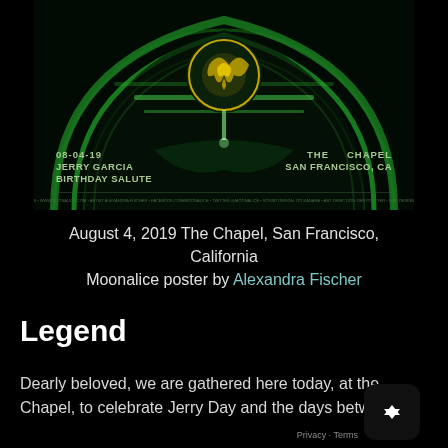[Figure (illustration): Concert poster with dark green psychedelic art featuring an arch/heart shape with ornate golden logo emblem, text overlay showing date and venue details: 08-04-19 JERRY GARCIA BIRTHDAY SALUTE on left, THE CHAPEL SAN FRANCISCO, CA on right]
August 4, 2019 The Chapel, San Francisco, California
Moonalice poster by Alexandra Fischer
Legend
Dearly beloved, we are gathered here today, at the Chapel, to celebrate Jerry Day and the days between.